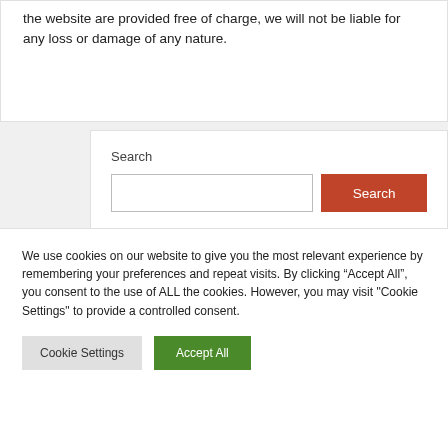the website are provided free of charge, we will not be liable for any loss or damage of any nature.
Search
We use cookies on our website to give you the most relevant experience by remembering your preferences and repeat visits. By clicking “Accept All”, you consent to the use of ALL the cookies. However, you may visit "Cookie Settings" to provide a controlled consent.
Cookie Settings
Accept All